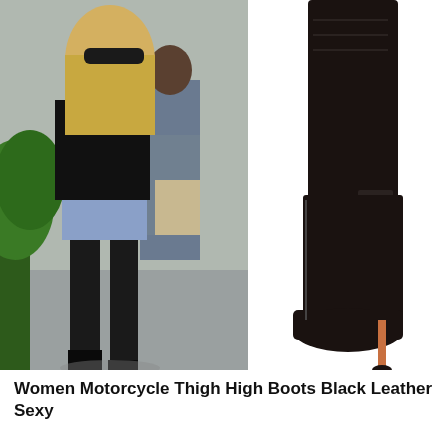[Figure (photo): Left photo: A woman wearing black thigh-high boots with distressed denim shorts and a black jacket, walking outdoors with people in the background and palm trees visible. Right photo: A product shot of a single black leather thigh-high stiletto boot on a white background, showing details including buckles and a red-tipped heel.]
Women Motorcycle Thigh High Boots Black Leather Sexy